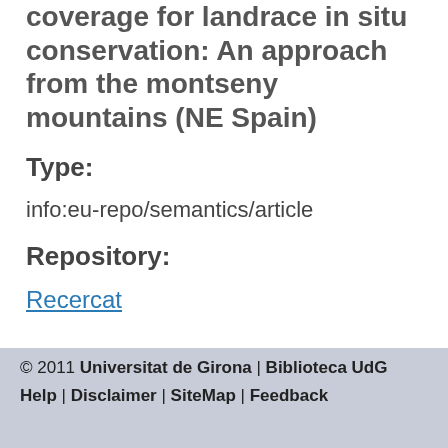coverage for landrace in situ conservation: An approach from the montseny mountains (NE Spain)
Type:
info:eu-repo/semantics/article
Repository:
Recercat
© 2011 Universitat de Girona | Biblioteca UdG  Help |  Disclaimer |  SiteMap |  Feedback